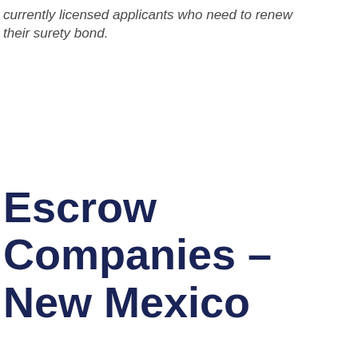currently licensed applicants who need to renew their surety bond.
Escrow Companies – New Mexico